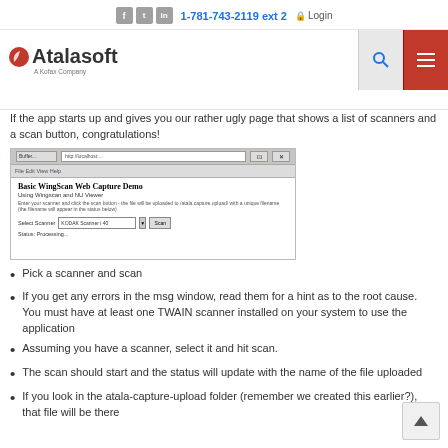1-781-743-2119 ext 2  |  Login  |  Atalasoft - A Kofax Company
If the app starts up and gives you our rather ugly page that shows a list of scanners and a scan button, congratulations!
[Figure (screenshot): Screenshot of Basic WingScan Web Capture Demo application showing scanner selection dropdown and scan button]
Pick a scanner and scan
If you get any errors in the msg window, read them for a hint as to the root cause. You must have at least one TWAIN scanner installed on your system to use the application
Assuming you have a scanner, select it and hit scan.
The scan should start and the status will update with the name of the file uploaded
If you look in the atala-capture-upload folder (remember we created this earlier?), that file will be there